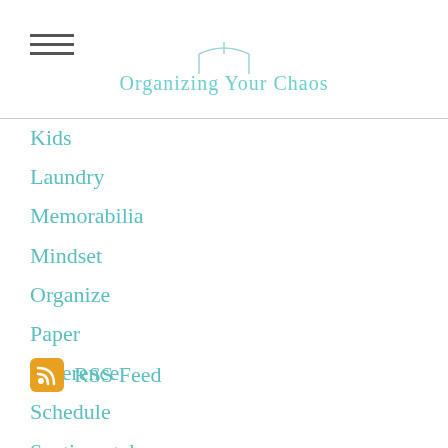Organizing Your Chaos
Kids
Laundry
Memorabilia
Mindset
Organize
Paper
Reference
Schedule
Sentimental
Sunday Basket
Together
RSS Feed